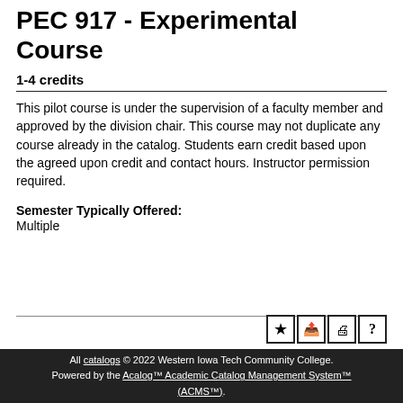PEC 917 - Experimental Course
1-4 credits
This pilot course is under the supervision of a faculty member and approved by the division chair. This course may not duplicate any course already in the catalog. Students earn credit based upon the agreed upon credit and contact hours. Instructor permission required.
Semester Typically Offered:
Multiple
All catalogs © 2022 Western Iowa Tech Community College. Powered by the Acalog™ Academic Catalog Management System™ (ACMS™).